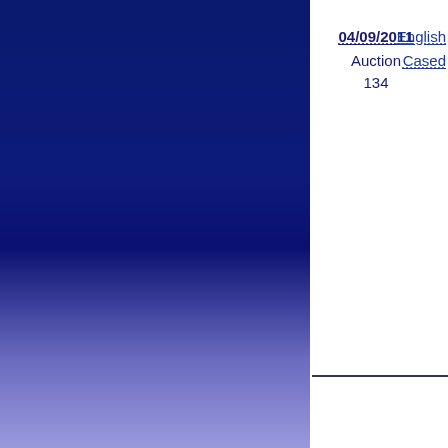[Figure (illustration): Large rectangular panel with a blue gradient background, transitioning from dark navy blue at the top to a lighter periwinkle/lavender blue at the bottom.]
04/09/2011
Auction
134
English
Cased